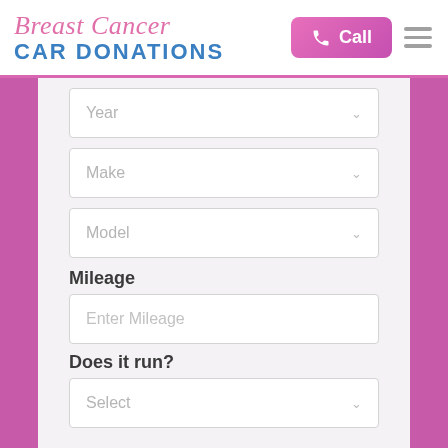Breast Cancer CAR DONATIONS
Year (dropdown)
Make (dropdown)
Model (dropdown)
Mileage
Enter Mileage (input)
Does it run?
Select (dropdown)